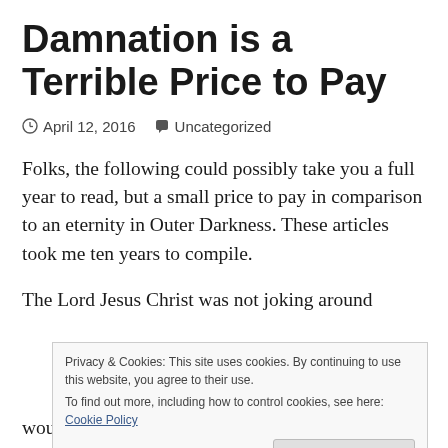Damnation is a Terrible Price to Pay
April 12, 2016  Uncategorized
Folks, the following could possibly take you a full year to read, but a small price to pay in comparison to an eternity in Outer Darkness. These articles took me ten years to compile.
The Lord Jesus Christ was not joking around
Privacy & Cookies: This site uses cookies. By continuing to use this website, you agree to their use.
To find out more, including how to control cookies, see here: Cookie Policy
would be deceived in these last days.